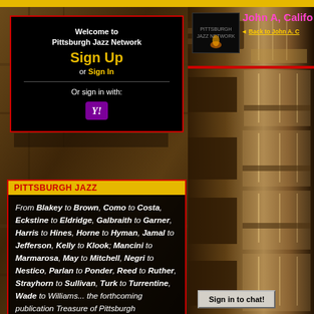[Figure (screenshot): Pittsburgh Jazz Network website screenshot showing sign-up box, Pittsburgh Jazz content section, and restaurant interior photos on right side]
Welcome to Pittsburgh Jazz Network
Sign Up or Sign In
Or sign in with:
John A, Calif
Back to John A. C
PITTSBURGH JAZZ
From Blakey to Brown, Como to Costa, Eckstine to Eldridge, Galbraith to Garner, Harris to Hines, Horne to Hyman, Jamal to Jefferson, Kelly to Klook; Mancini to Marmarosa, May to Mitchell, Negri to Nestico, Parlan to Ponder, Reed to Ruther, Strayhorn to Sullivan, Turk to Turrentine, Wade to Williams... the forthcoming publication Treasure of Pittsburgh
Sign in to chat!